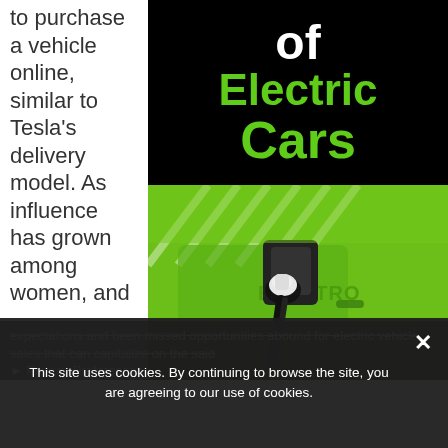to purchase a vehicle online, similar to Tesla's delivery model. As influence has grown among women, and
Future of Electric Cars
[Figure (photo): Green electric car with charging plug inserted, with 'ELEKTRO' text visible on the side of the car]
expectations and been missed opportunities abound for electric vehicle sales that can capitalize on the said
This site uses cookies. By continuing to browse the site, you are agreeing to our use of cookies.
Privacy Preferences